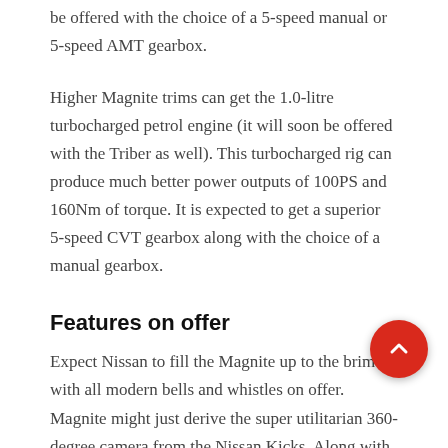be offered with the choice of a 5-speed manual or 5-speed AMT gearbox.
Higher Magnite trims can get the 1.0-litre turbocharged petrol engine (it will soon be offered with the Triber as well). This turbocharged rig can produce much better power outputs of 100PS and 160Nm of torque. It is expected to get a superior 5-speed CVT gearbox along with the choice of a manual gearbox.
Features on offer
Expect Nissan to fill the Magnite up to the brim with all modern bells and whistles on offer. Magnite might just derive the super utilitarian 360-degree camera from the Nissan Kicks. Along with it, an 8.0-inch touchscreen infotainment system, full LED headlamps, L-shaped LED